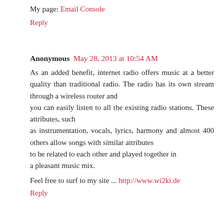My page: Email Console
Reply
Anonymous  May 28, 2013 at 10:54 AM
As an added benefit, internet radio offers music at a better quality than traditional radio. The radio has its own stream through a wireless router and you can easily listen to all the existing radio stations. These attributes, such as instrumentation, vocals, lyrics, harmony and almost 400 others allow songs with similar attributes to be related to each other and played together in a pleasant music mix.
Feel free to surf to my site ... http://www.wi2ki.de
Reply
Anonymous  May 28, 2013 at 4:33 PM